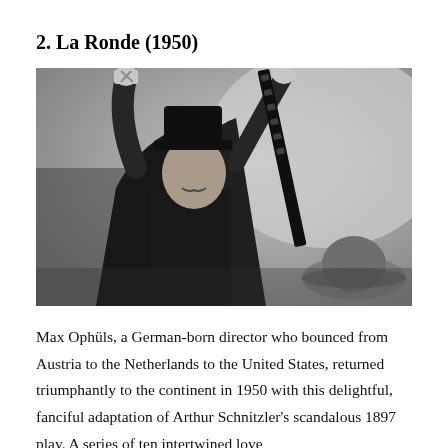2. La Ronde (1950)
[Figure (photo): Black and white still from La Ronde (1950) showing a man in a cape and top hat holding up a strip of film, looking upward. A hat appears in the lower right corner.]
Max Ophüls, a German-born director who bounced from Austria to the Netherlands to the United States, returned triumphantly to the continent in 1950 with this delightful, fanciful adaptation of Arthur Schnitzler's scandalous 1897 play. A series of ten intertwined love